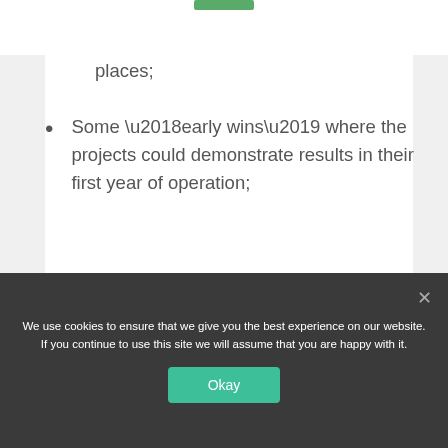places;
Some ‘early wins’ where the projects could demonstrate results in their first year of operation;
The overall research framework, and hypotheses to be tested;
We use cookies to ensure that we give you the best experience on our website. If you continue to use this site we will assume that you are happy with it.